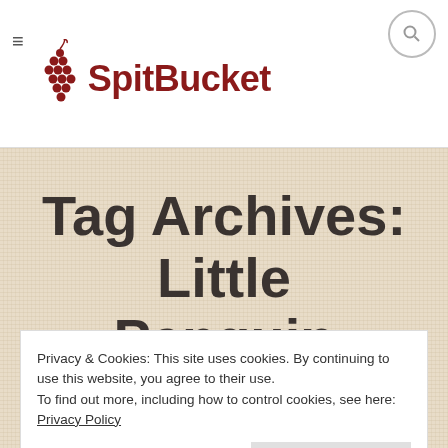SpitBucket
Tag Archives: Little Penguin
Privacy & Cookies: This site uses cookies. By continuing to use this website, you agree to their use.
To find out more, including how to control cookies, see here: Privacy Policy
Close and accept
your